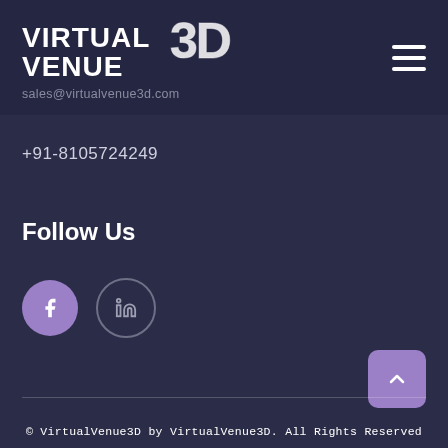[Figure (logo): Virtual Venue 3D logo — white bold text 'VIRTUAL VENUE' with stylized '3D' graphic on dark navy background]
sales@virtualvenue3d.com
+91-8105724249
Follow Us
[Figure (other): Facebook icon (f) in filled purple circle and LinkedIn icon (in) in outlined circle]
[Figure (other): Scroll-to-top button with upward chevron in purple rounded square]
© VirtualVenue3D by VirtualVenue3D. All Rights Reserved